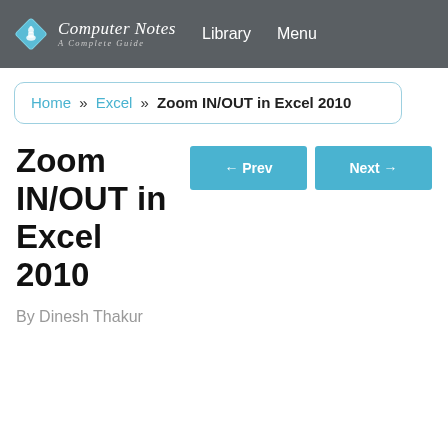Computer Notes A Complete Guide | Library | Menu
Home » Excel » Zoom IN/OUT in Excel 2010
Zoom IN/OUT in Excel 2010
By Dinesh Thakur